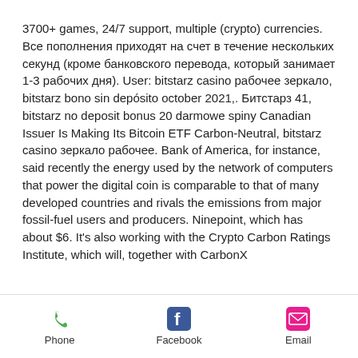3700+ games, 24/7 support, multiple (crypto) currencies. Все пополнения приходят на счет в течение нескольких секунд (кроме банковского перевода, который занимает 1-3 рабочих дня). User: bitstarz casino рабочее зеркало, bitstarz bono sin depósito october 2021,. Битстарз 41, bitstarz no deposit bonus 20 darmowe spiny Canadian Issuer Is Making Its Bitcoin ETF Carbon-Neutral, bitstarz casino зеркало рабочее. Bank of America, for instance, said recently the energy used by the network of computers that power the digital coin is comparable to that of many developed countries and rivals the emissions from major fossil-fuel users and producers. Ninepoint, which has about $6. It's also working with the Crypto Carbon Ratings Institute, which will, together with CarbonX
Phone | Facebook | Email